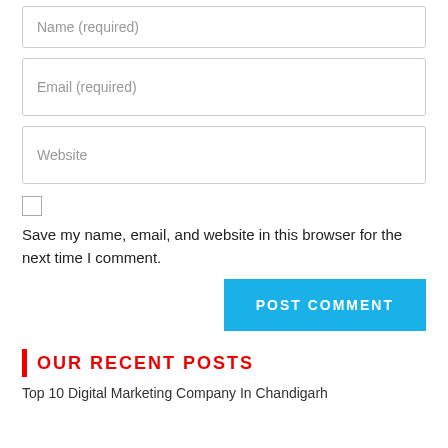Name (required)
Email (required)
Website
Save my name, email, and website in this browser for the next time I comment.
POST COMMENT
OUR RECENT POSTS
Top 10 Digital Marketing Company In Chandigarh